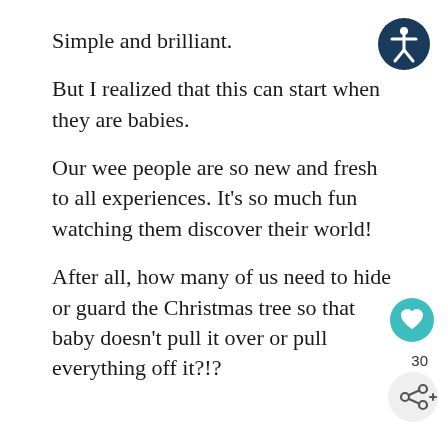Simple and brilliant.
[Figure (illustration): Accessibility icon — white stick figure in circle on dark blue background, top right corner]
But I realized that this can start when they are babies.
Our wee people are so new and fresh to all experiences. It’s so much fun watching them discover their world!
After all, how many of us need to hide or guard the Christmas tree so that baby doesn’t pull it over or pull everything off it?!?
[Figure (illustration): Heart/like icon — white heart on teal circle, right side]
30
[Figure (illustration): Share icon — share symbol on light grey circle, right side bottom]